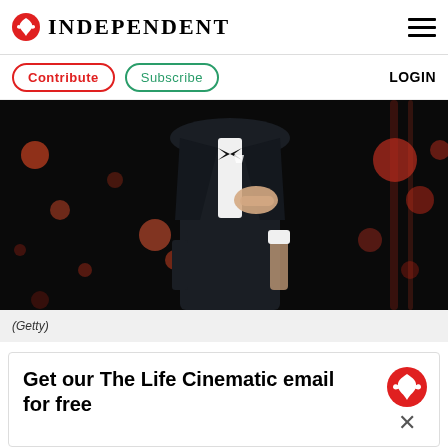INDEPENDENT
Contribute  Subscribe  LOGIN
[Figure (photo): A man in a dark tuxedo with hand on chest, on stage with bokeh lights in the background]
(Getty)
Get our The Life Cinematic email for free